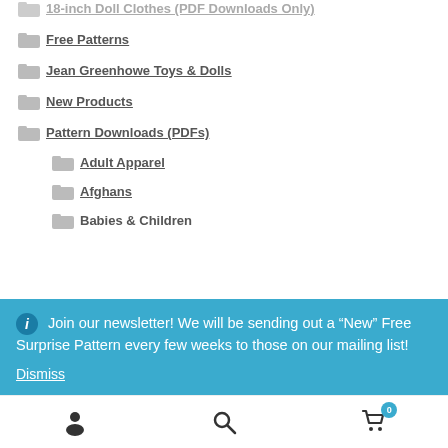18-inch Doll Clothes (PDF Downloads Only)
Free Patterns
Jean Greenhowe Toys & Dolls
New Products
Pattern Downloads (PDFs)
Adult Apparel
Afghans
Babies & Children
Join our newsletter! We will be sending out a "New" Free Surprise Pattern every few weeks to those on our mailing list! Dismiss